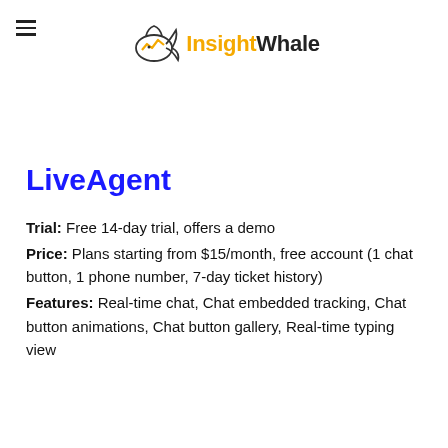InsightWhale
LiveAgent
Trial: Free 14-day trial, offers a demo Price: Plans starting from $15/month, free account (1 chat button, 1 phone number, 7-day ticket history) Features: Real-time chat, Chat embedded tracking, Chat button animations, Chat button gallery, Real-time typing view